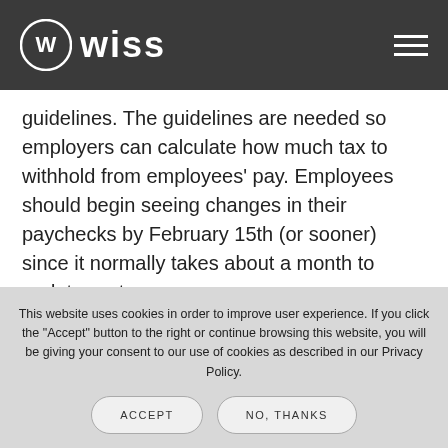Wiss
guidelines. The guidelines are needed so employers can calculate how much tax to withhold from employees' pay. Employees should begin seeing changes in their paychecks by February 15th (or sooner) since it normally takes about a month to update systems....
CONTINUE READING
This website uses cookies in order to improve user experience. If you click the “Accept” button to the right or continue browsing this website, you will be giving your consent to our use of cookies as described in our Privacy Policy.
ACCEPT
NO, THANKS